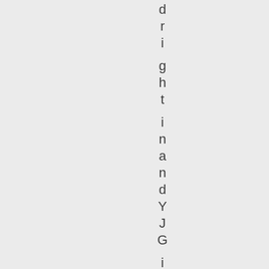d r i g h t i n a n d Y J G i s